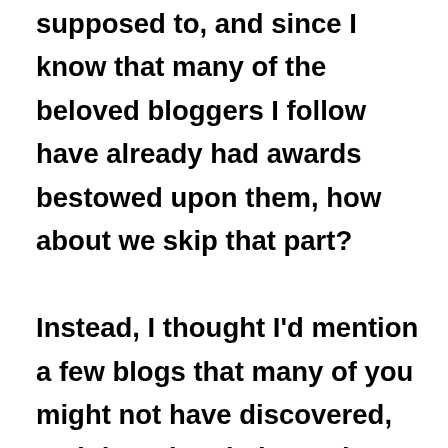supposed to, and since I know that many of the beloved bloggers I follow have already had awards bestowed upon them, how about we skip that part?

Instead, I thought I'd mention a few blogs that many of you might not have discovered, and thought I'd give a shout out to.

Pam Chamberlain-— Writer's, there's